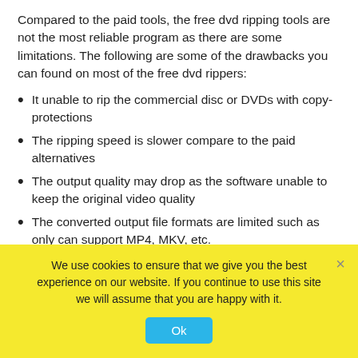Compared to the paid tools, the free dvd ripping tools are not the most reliable program as there are some limitations. The following are some of the drawbacks you can found on most of the free dvd rippers:
It unable to rip the commercial disc or DVDs with copy-protections
The ripping speed is slower compare to the paid alternatives
The output quality may drop as the software unable to keep the original video quality
The converted output file formats are limited such as only can support MP4, MKV, etc.
Some free rippers may be unstable and contain ads or
We use cookies to ensure that we give you the best experience on our website. If you continue to use this site we will assume that you are happy with it.